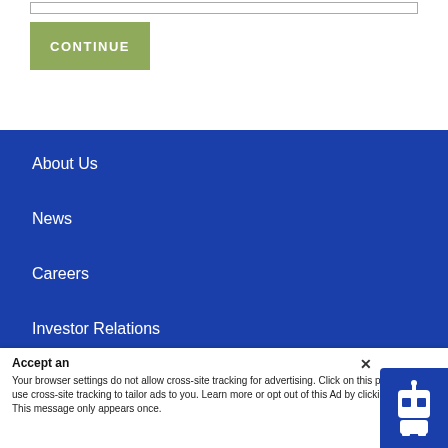[Figure (screenshot): Input bar at top of page]
[Figure (screenshot): Green CONTINUE button]
About Us
News
Careers
Investor Relations
Social Impact
Accept an✕
Your browser settings do not allow cross-site tracking for advertising. Click on this p AdRoll to use cross-site tracking to tailor ads to you. Learn more or opt out of this Ad by clicking here. This message only appears once.